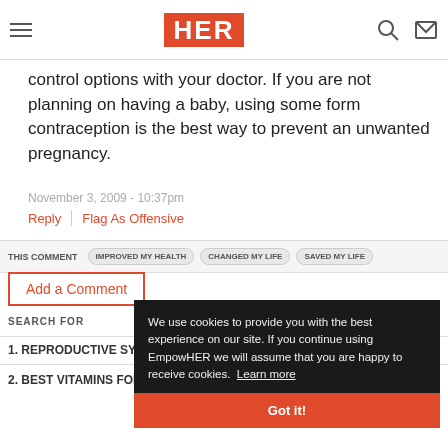HER
control options with your doctor. If you are not planning on having a baby, using some form contraception is the best way to prevent an unwanted pregnancy.
November 3, 2009 - 10:37pm
Reply | Flag As Offensive
THIS COMMENT   IMPROVED MY HEALTH   CHANGED MY LIFE   SAVED MY LIFE
Add a Comment
SEARCH FOR
1. REPRODUCTIVE SYSTEM QUIZ
2. BEST VITAMINS FOR NEUROPATHY
We use cookies to provide you with the best experience on our site. If you continue using EmpowHER we will assume that you are happy to receive cookies. Learn more
Got it!